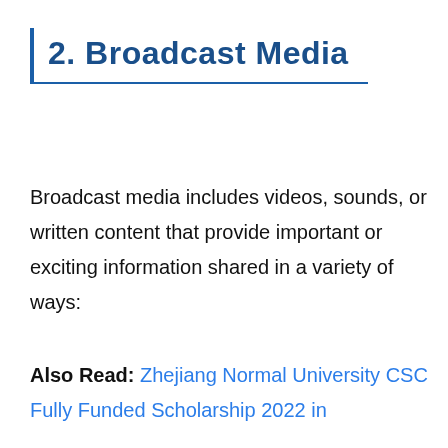2. Broadcast Media
Broadcast media includes videos, sounds, or written content that provide important or exciting information shared in a variety of ways:
Also Read: Zhejiang Normal University CSC Fully Funded Scholarship 2022 in